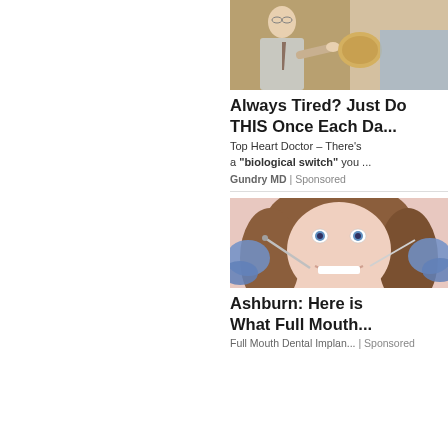[Figure (photo): Doctor in suit pointing at dental/food model, advertisement image for Gundry MD health product]
Always Tired? Just Do THIS Once Each Da...
Top Heart Doctor – There's a "biological switch" you ...
Gundry MD | Sponsored
[Figure (photo): Young woman smiling at dentist with dental tools and blue-gloved hands around her mouth]
Ashburn: Here is What Full Mouth...
Full Mouth Dental Implan... | Sponsored